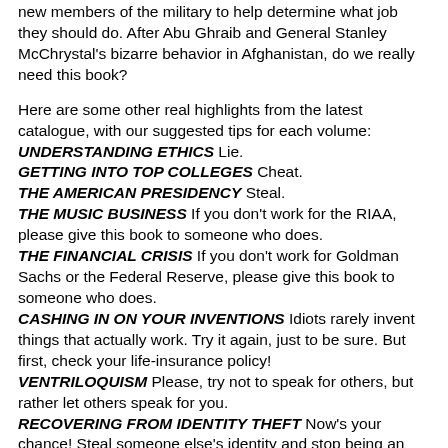new members of the military to help determine what job they should do. After Abu Ghraib and General Stanley McChrystal's bizarre behavior in Afghanistan, do we really need this book?
Here are some other real highlights from the latest catalogue, with our suggested tips for each volume: UNDERSTANDING ETHICS Lie. GETTING INTO TOP COLLEGES Cheat. THE AMERICAN PRESIDENCY Steal. THE MUSIC BUSINESS If you don't work for the RIAA, please give this book to someone who does. THE FINANCIAL CRISIS If you don't work for Goldman Sachs or the Federal Reserve, please give this book to someone who does. CASHING IN ON YOUR INVENTIONS Idiots rarely invent things that actually work. Try it again, just to be sure. But first, check your life-insurance policy! VENTRILOQUISM Please, try not to speak for others, but rather let others speak for you. RECOVERING FROM IDENTITY THEFT Now's your chance! Steal someone else's identity and stop being an